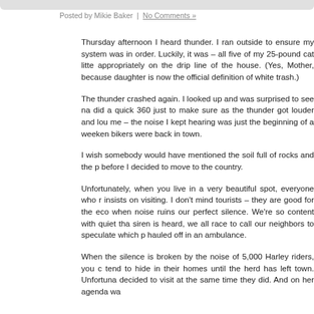Posted by Mikie Baker | No Comments »
Thursday afternoon I heard thunder. I ran outside to ensure my system was in order. Luckily, it was – all five of my 25-pound cat litte appropriately on the drip line of the house. (Yes, Mother, because daughter is now the official definition of white trash.)
The thunder crashed again. I looked up and was surprised to see na did a quick 360 just to make sure as the thunder got louder and lou me – the noise I kept hearing was just the beginning of a weeken bikers were back in town.
I wish somebody would have mentioned the soil full of rocks and the p before I decided to move to the country.
Unfortunately, when you live in a very beautiful spot, everyone who r insists on visiting. I don't mind tourists – they are good for the eco when noise ruins our perfect silence. We're so content with quiet tha siren is heard, we all race to call our neighbors to speculate which p hauled off in an ambulance.
When the silence is broken by the noise of 5,000 Harley riders, you c tend to hide in their homes until the herd has left town. Unfortuna decided to visit at the same time they did. And on her agenda wa